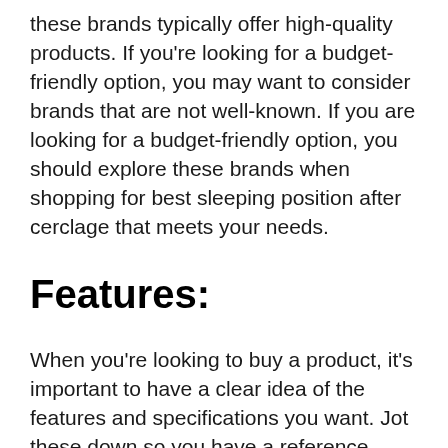these brands typically offer high-quality products. If you're looking for a budget-friendly option, you may want to consider brands that are not well-known. If you are looking for a budget-friendly option, you should explore these brands when shopping for best sleeping position after cerclage that meets your needs.
Features:
When you're looking to buy a product, it's important to have a clear idea of the features and specifications you want. Jot these down so you have a reference point. Rank the features in order of importance, with the most essential at the top. Consider